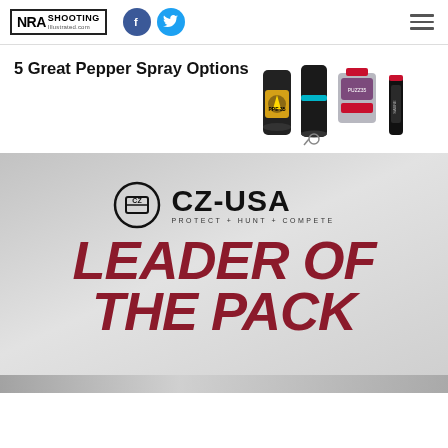NRA Shooting Illustrated .com
5 Great Pepper Spray Options
[Figure (photo): Four pepper spray products arranged side by side]
[Figure (advertisement): CZ-USA advertisement with logo and 'LEADER OF THE PACK' text on gray gradient background]